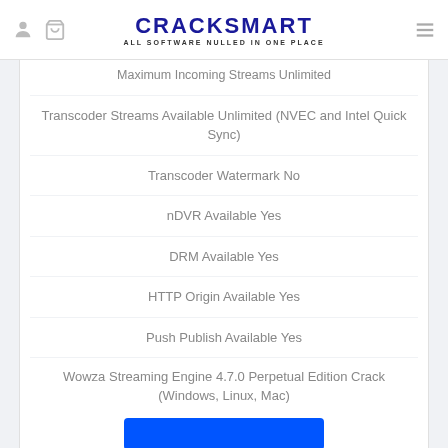CRACKSMART — ALL SOFTWARE NULLED IN ONE PLACE
Maximum Incoming Streams Unlimited
Transcoder Streams Available Unlimited (NVEC and Intel Quick Sync)
Transcoder Watermark No
nDVR Available Yes
DRM Available Yes
HTTP Origin Available Yes
Push Publish Available Yes
Wowza Streaming Engine 4.7.0 Perpetual Edition Crack
(Windows, Linux, Mac)